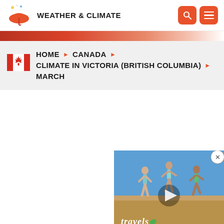WEATHER & CLIMATE
HOME ▶ CANADA ▶ CLIMATE IN VICTORIA (BRITISH COLUMBIA) ▶ MARCH
[Figure (screenshot): Advertisement video thumbnail showing people jumping, with a play button and 'travels' label overlay]